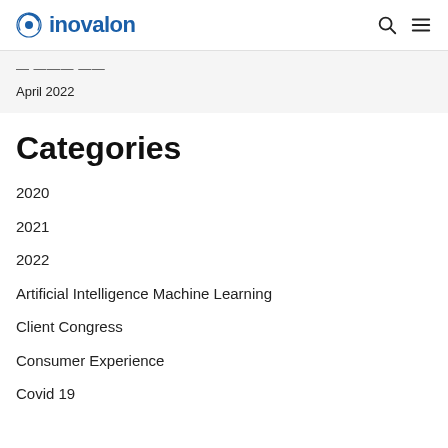inovalon
April 2022
Categories
2020
2021
2022
Artificial Intelligence Machine Learning
Client Congress
Consumer Experience
Covid 19